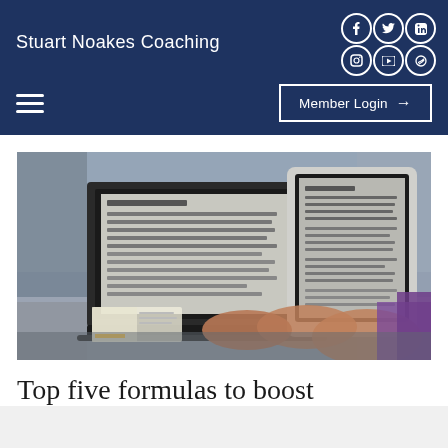Stuart Noakes Coaching
[Figure (screenshot): Website navigation header with hamburger menu and Member Login button with arrow]
[Figure (photo): Person typing on a laptop with a tablet nearby in a library setting, both devices showing documents]
Top five formulas to boost